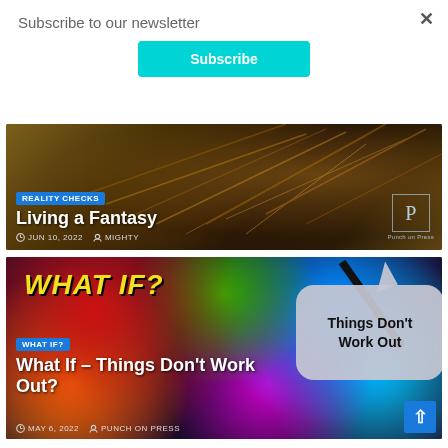Subscribe to our newsletter
[Figure (screenshot): Cyan Subscribe button]
[Figure (photo): Article card: Living a Fantasy - dark bokeh background with golden light streaks. Badge: REALITY CHECKS. Date: JUN 10, 2022. Author: MIGHTY. Punch on Press watermark logo.]
[Figure (photo): Article card: What If – Things Don't Work Out? - colorful bokeh background with speech bubble overlay reading 'Things Don't Work Out'. Badge: WHAT IF?. Date: MAY 6, 2022. Author: PUNCH ON PRESS.]